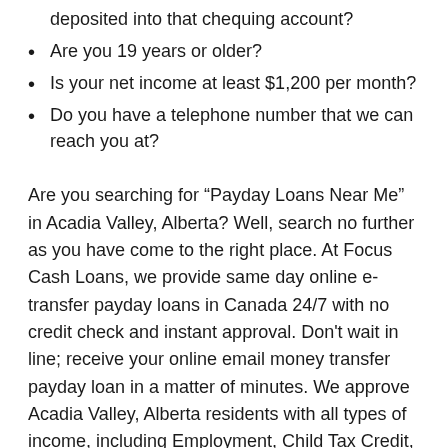deposited into that chequing account?
Are you 19 years or older?
Is your net income at least $1,200 per month?
Do you have a telephone number that we can reach you at?
Are you searching for “Payday Loans Near Me” in Acadia Valley, Alberta? Well, search no further as you have come to the right place. At Focus Cash Loans, we provide same day online e-transfer payday loans in Canada 24/7 with no credit check and instant approval. Don't wait in line; receive your online email money transfer payday loan in a matter of minutes. We approve Acadia Valley, Alberta residents with all types of income, including Employment, Child Tax Credit, Private Disability, Employment Insurance, CPP & Private Pension, Workers Compensation. And yes, people that are unemployed receiving EI benefits can apply as well.